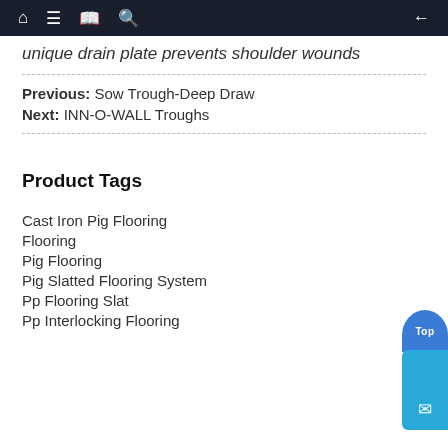Navigation bar with home, menu, book, search icons and back arrow
unique drain plate prevents shoulder wounds
Previous: Sow Trough-Deep Draw
Next: INN-O-WALL Troughs
Product Tags
Cast Iron Pig Flooring
Flooring
Pig Flooring
Pig Slatted Flooring System
Pp Flooring Slat
Pp Interlocking Flooring